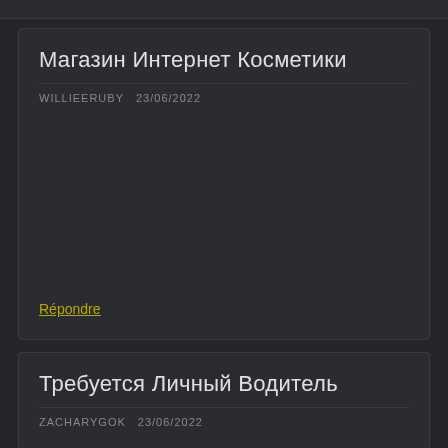Магазин Интернет Косметики
WILLIEERUBY  23/06/2022
Répondre
Требуется Личный Водитель
ZACHARYGOK  23/06/2022